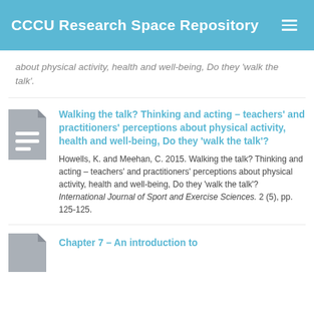CCCU Research Space Repository
about physical activity, health and well-being, Do they 'walk the talk'.
Walking the talk? Thinking and acting – teachers' and practitioners' perceptions about physical activity, health and well-being, Do they 'walk the talk'?
Howells, K. and Meehan, C. 2015. Walking the talk? Thinking and acting – teachers' and practitioners' perceptions about physical activity, health and well-being, Do they 'walk the talk'? International Journal of Sport and Exercise Sciences. 2 (5), pp. 125-125.
Chapter 7 – An introduction to